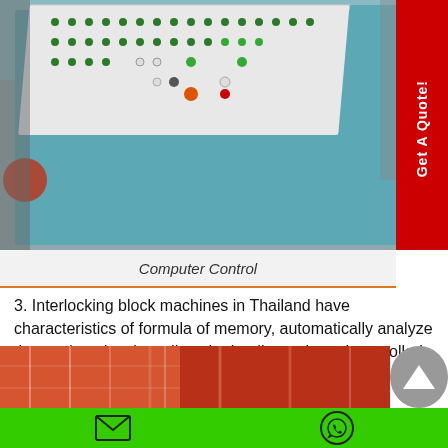[Figure (photo): Photo of a blue industrial computer control panel with rows of buttons and switches on a white panel surface. A red 'Get A Quote!' tab is overlaid on the right side.]
Computer Control
3. Interlocking block machines in Thailand have characteristics of formula of memory, automatically analyze the product density, adjust the loading ratio and controlled by computer to vibrate, converse and brake.
[Figure (photo): Partial photo of industrial machinery / scaffolding structure in orange and red tones.]